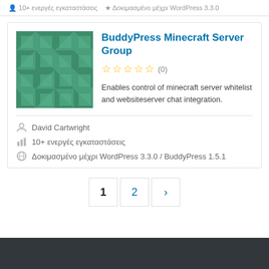10+ ενεργές εγκαταστάσεις · Δοκιμασμένο μέχρι WordPress 3.3.0 / BuddyPress 1.5.1
BuddyPress Minecraft Server Group
Enables control of minecraft server whitelist and websiteserver chat integration.
David Cartwright
10+ ενεργές εγκαταστάσεις
Δοκιμασμένο μέχρι WordPress 3.3.0 / BuddyPress 1.5.1
1  2  ›